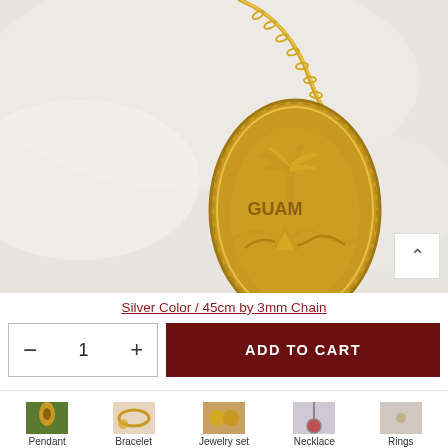[Figure (photo): Gold Guam pendant necklace with palm tree and traditional design on an oval frame, shown on white silk fabric background]
Silver Color / 45cm by 3mm Chain
- 1 +
ADD TO CART
Pendant
Bracelet
Jewelry set
Necklace
Rings